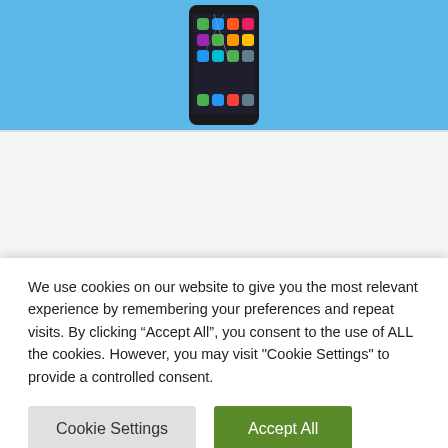[Figure (photo): A smartphone with a cracked screen displaying app icons on a blue background]
NEWS
MIUI to Quickly Let Customers Pre-
We use cookies on our website to give you the most relevant experience by remembering your preferences and repeat visits. By clicking “Accept All”, you consent to the use of ALL the cookies. However, you may visit "Cookie Settings" to provide a controlled consent.